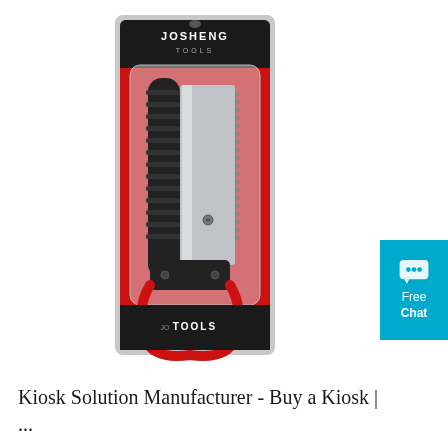[Figure (photo): A Josheng Tools folding hand saw with black rubberized handle and serrated blade, displayed in red retail packaging with 'JOSHENG TOOLS' branding at top and bottom.]
[Figure (infographic): A teal/cyan chat widget button with a speech bubble icon and text 'Free Chat'.]
Kiosk Solution Manufacturer - Buy a Kiosk | ...